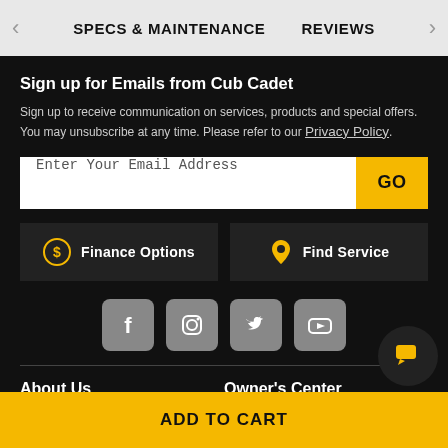SPECS & MAINTENANCE    REVIEWS
Sign up for Emails from Cub Cadet
Sign up to receive communication on services, products and special offers. You may unsubscribe at any time. Please refer to our Privacy Policy.
Enter Your Email Address  GO
Finance Options
Find Service
[Figure (infographic): Social media icons: Facebook, Instagram, Twitter, YouTube]
About Us
Owner's Center
Our Story
Product Recalls
ADD TO CART